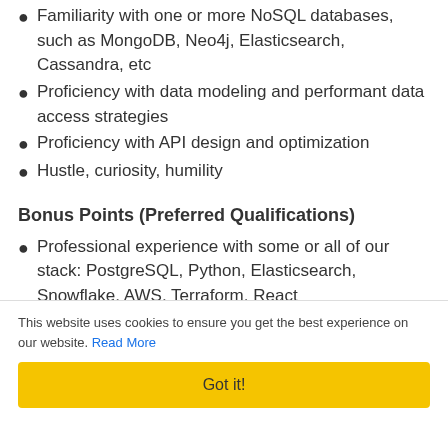Familiarity with one or more NoSQL databases, such as MongoDB, Neo4j, Elasticsearch, Cassandra, etc
Proficiency with data modeling and performant data access strategies
Proficiency with API design and optimization
Hustle, curiosity, humility
Bonus Points (Preferred Qualifications)
Professional experience with some or all of our stack: PostgreSQL, Python, Elasticsearch, Snowflake, AWS, Terraform, React
Experience with making product decisions
Experience with autonomous, self-directed work
Strong communication skills
This website uses cookies to ensure you get the best experience on our website. Read More
Got it!